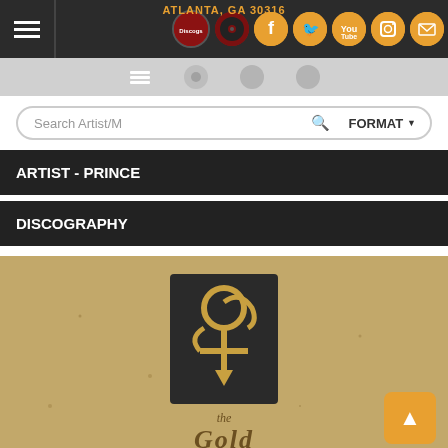ATLANTA, GA 30316
Search Artist/M
ARTIST - PRINCE
DISCOGRAPHY
[Figure (photo): Album cover image with kraft cardboard texture background and Prince love symbol (unpronounceable glyph) logo on dark square, with 'the Gold' text below in stylized font]